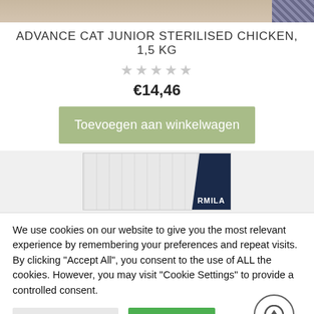[Figure (photo): Top portion of a product image, cropped at the top of the page]
ADVANCE CAT JUNIOR STERILISED CHICKEN, 1,5 KG
★★★★★ (empty stars rating)
€14,46
Toevoegen aan winkelwagen
[Figure (photo): Partial product image showing a cat food packaging with label detail]
We use cookies on our website to give you the most relevant experience by remembering your preferences and repeat visits. By clicking "Accept All", you consent to the use of ALL the cookies. However, you may visit "Cookie Settings" to provide a controlled consent.
Cookie Settings
Accept All